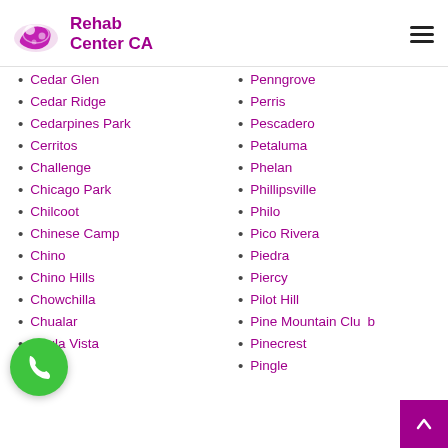[Figure (logo): Rehab Center CA logo with pill/sandal icon and text]
Cedar Glen
Cedar Ridge
Cedarpines Park
Cerritos
Challenge
Chicago Park
Chilcoot
Chinese Camp
Chino
Chino Hills
Chowchilla
Chualar
Chula Vista
Circo
Penngrove
Perris
Pescadero
Petaluma
Phelan
Phillipsville
Philo
Pico Rivera
Piedra
Piercy
Pilot Hill
Pine Mountain Club
Pinecrest
Pingle